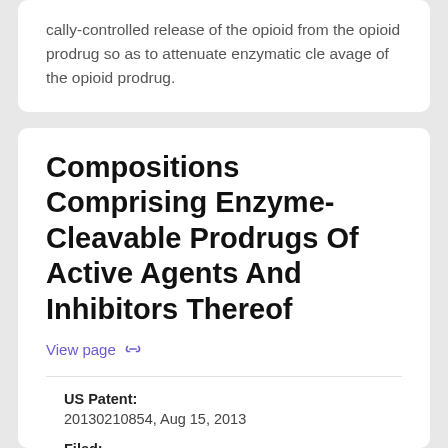cally-controlled release of the opioid from the opioid prodrug so as to attenuate enzymatic cleavage of the opioid prodrug.
Compositions Comprising Enzyme-Cleavable Prodrugs Of Active Agents And Inhibitors Thereof
View page
US Patent:
20130210854, Aug 15, 2013
Filed:
Dec 7, 2012
GET REPORT